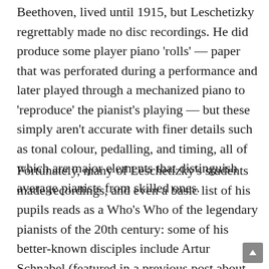Beethoven, lived until 1915, but Leschetizky regrettably made no disc recordings. He did produce some player piano 'rolls' — paper that was perforated during a performance and later played through a mechanized piano to 'reproduce' the pianist's playing — but these simply aren't accurate with finer details such as tonal colour, pedalling, and timing, all of which are major elements that distinguish average pianists from skilled ones.
Fortunately, many of Leschetizky's students made recordings, and even a basic list of his pupils reads as a Who's Who of the legendary pianists of the 20th century: some of his better-known disciples include Artur Schnabel (featured in a previous post about his groundbreaking Beethoven Sonata cycle), Ignaz